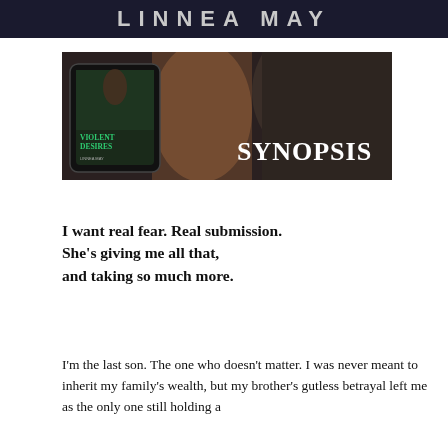LINNEA MAY
[Figure (illustration): Book cover promotional banner showing a couple in an intimate pose about to kiss, dark background, with a tablet displaying the book cover 'Violent Desires by Linnea May', and the word SYNOPSIS in large white serif text on the right side.]
I want real fear. Real submission.
She’s giving me all that,
and taking so much more.
I’m the last son. The one who doesn’t matter. I was never meant to inherit my family’s wealth, but my brother’s gutless betrayal left me as the only one still holding a